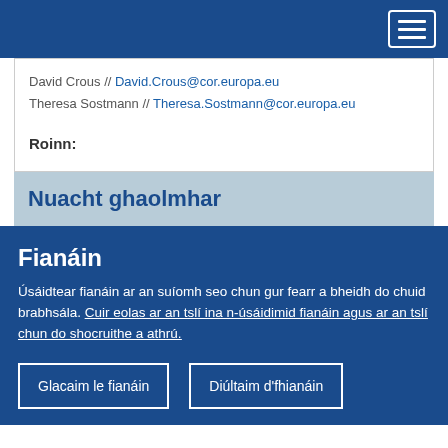David Crous // David.Crous@cor.europa.eu
Theresa Sostmann // Theresa.Sostmann@cor.europa.eu
Roinn:
Nuacht ghaolmhar
Fianáin
Úsáidtear fianáin ar an suíomh seo chun gur fearr a bheidh do chuid brabhsála. Cuir eolas ar an tslí ina n-úsáidimid fianáin agus ar an tslí chun do shocruithe a athrú.
Glacaim le fianáin
Diúltaim d'fhianáin